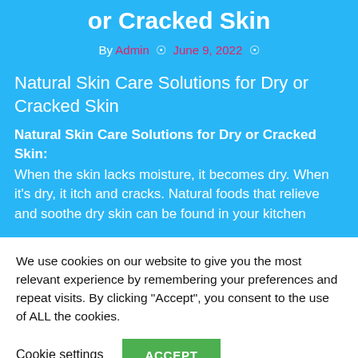or Cracked Skin
By Admin  ⊙  June 9, 2022  ⊙
Natural Skin Care Solutions for Dry or Cracked Skin
Natural Skin Care Solutions for Dry or Cracked Skin: When the skin lacks moisture, it becomes dry. When it's dry, it itch and cracks. Natural foods that relieve and soothe dry skin can be found in your kitchen
We use cookies on our website to give you the most relevant experience by remembering your preferences and repeat visits. By clicking "Accept", you consent to the use of ALL the cookies.
Cookie settings   ACCEPT